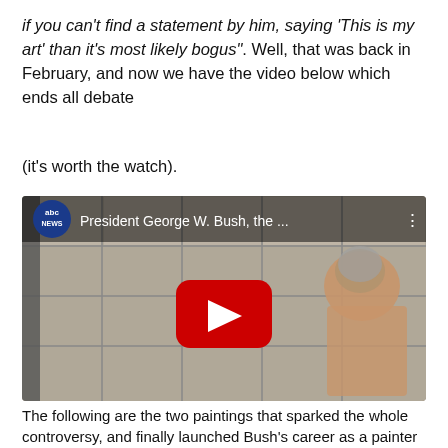if you can't find a statement by him, saying 'This is my art' than it's most likely bogus". Well, that was back in February, and now we have the video below which ends all debate
(it's worth the watch).
[Figure (screenshot): YouTube video embed showing ABC News video titled 'President George W. Bush, the ...' with a YouTube play button overlay. The video thumbnail shows a person viewed from behind in a shower.]
The following are the two paintings that sparked the whole controversy, and finally launched Bush's career as a painter of